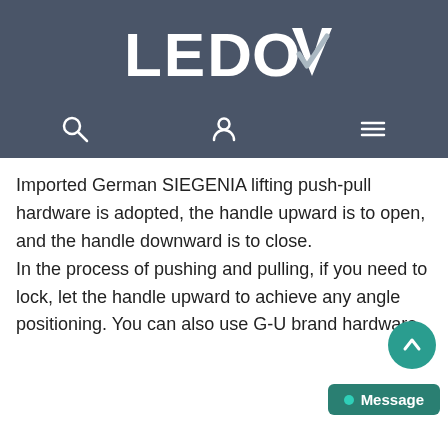[Figure (logo): LEDOV logo in white text on dark slate background with a checkmark incorporated into the V]
[Figure (screenshot): Navigation bar with search icon, user/profile icon, and hamburger menu icon on dark background]
Imported German SIEGENIA lifting push-pull hardware is adopted, the handle upward is to open, and the handle downward is to close.
In the process of pushing and pulling, if you need to lock, let the handle upward to achieve any angle positioning. You can also use G-U brand hardware.